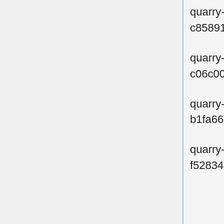quarry-dev-03.quarry.eqiad1.wikimedia.cloud 64a23ba7-55ff-4745-91c5-c8589151777e 172.16.6.81 g3.cores1.ram2.disk20
quarry-dev-02.quarry.eqiad1.wikimedia.cloud 98b08ce9-0d03-4e45-9e60-c06c00a7e16e 172.16.6.162 g3.cores1.ram2.disk20
quarry-dbbackup-01.quarry.eqiad1.wikimedia.cloud 6dc67c2b-8358-4b31-b640-b1fa66e5221c 172.16.2.196 g3.cores1.ram2.disk20
quarry-redis-01.quarry.eqiad1.wikimedia.cloud 5f11bea7-05ad-44e4-a60a-f528349a9412 172.16.1.139